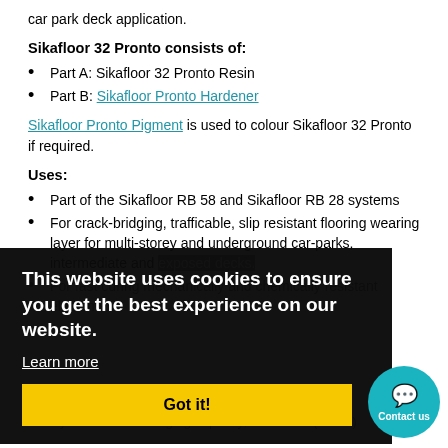car park deck application.
Sikafloor 32 Pronto consists of:
Part A: Sikafloor 32 Pronto Resin
Part B: Sikafloor Pronto Hardener
Sikafloor Pronto Pigment is used to colour Sikafloor 32 Pronto if required.
Uses:
Part of the Sikafloor RB 58 and Sikafloor RB 28 systems
For crack-bridging, trafficable, slip resistant flooring wearing layer for multi-storey and underground car-parks, intermediate and exposed decks.
For fast curing mechanically and chemically resistant elastomeric
Static crack-bridging capacity, class A4(-20°C)
Dynamic crack-bridging capacity, class B4.2(-20°C)
Very fast curing, even at low temperatures
High elongation at break, even at (-20°C)
Good mechanical and chemical resistance
Elastomeric
Solvent-free